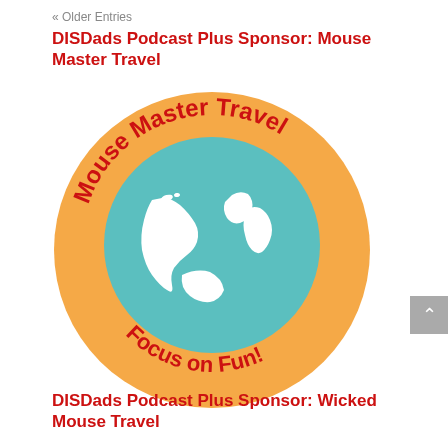« Older Entries
DISDads Podcast Plus Sponsor: Mouse Master Travel
[Figure (logo): Mouse Master Travel circular logo with orange background, teal globe showing white landmasses of North America, with red curved text reading 'Mouse Master Travel' on top arc and 'Focus on Fun!' on bottom arc.]
DISDads Podcast Plus Sponsor: Wicked Mouse Travel